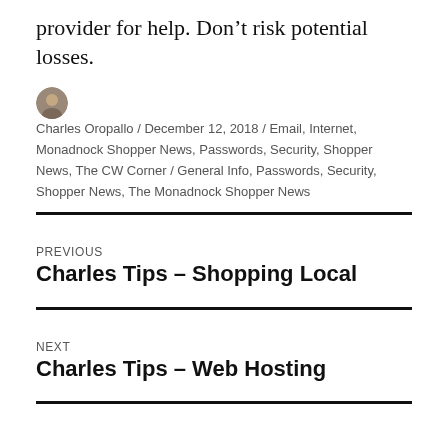provider for help. Don’t risk potential losses.
Charles Oropallo / December 12, 2018 / Email, Internet, Monadnock Shopper News, Passwords, Security, Shopper News, The CW Corner / General Info, Passwords, Security, Shopper News, The Monadnock Shopper News
PREVIOUS
Charles Tips – Shopping Local
NEXT
Charles Tips – Web Hosting